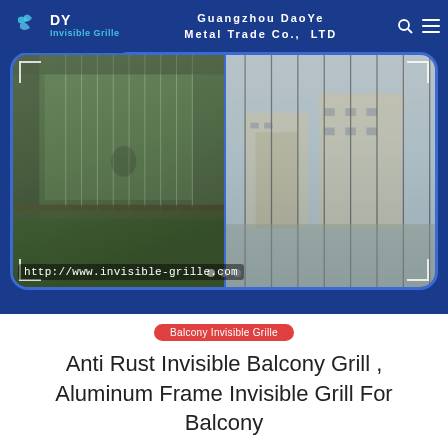Guangzhou DaoYe Metal Trade Co., LTD
[Figure (photo): Product showcase image showing invisible grille installed on a balcony window (left) and exterior building view with grille wires visible (right). Blue branded frame with DY Invisible Grille logo and company name.]
http://www.invisible-grille.com
Balcony Invisible Grille
Anti Rust Invisible Balcony Grill , Aluminum Frame Invisible Grill For Balcony